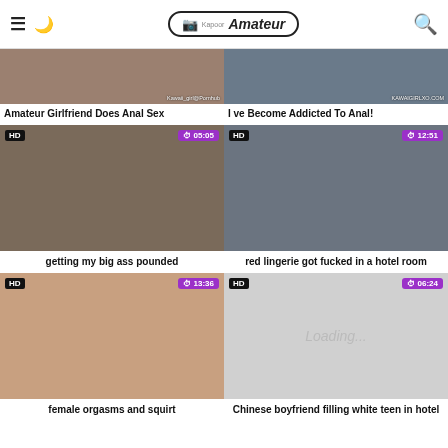Amateur (Kapoor) — site header with menu, dark mode, logo, search
[Figure (screenshot): Video thumbnail: Amateur Girlfriend Does Anal Sex]
Amateur Girlfriend Does Anal Sex
[Figure (screenshot): Video thumbnail: I ve Become Addicted To Anal!]
I ve Become Addicted To Anal!
[Figure (screenshot): Video thumbnail HD 05:05: getting my big ass pounded]
getting my big ass pounded
[Figure (screenshot): Video thumbnail HD 12:51: red lingerie got fucked in a hotel room]
red lingerie got fucked in a hotel room
[Figure (screenshot): Video thumbnail HD 13:36: female orgasms and squirt]
female orgasms and squirt
[Figure (screenshot): Video thumbnail HD 06:24: Loading... (Chinese boyfriend filling white teen in hotel)]
Chinese boyfriend filling white teen in hotel